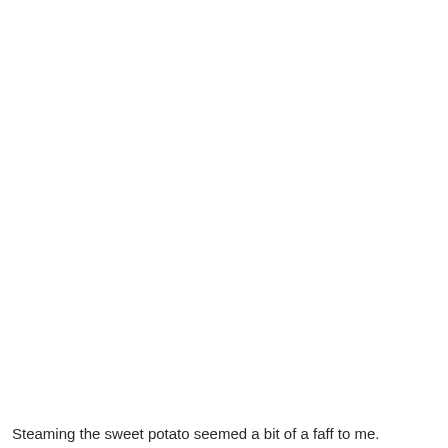Steaming the sweet potato seemed a bit of a faff to me.